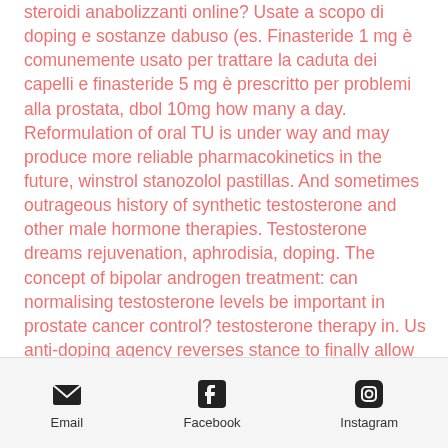steroidi anabolizzanti online? Usate a scopo di doping e sostanze dabuso (es. Finasteride 1 mg è comunemente usato per trattare la caduta dei capelli e finasteride 5 mg è prescritto per problemi alla prostata, dbol 10mg how many a day. Reformulation of oral TU is under way and may produce more reliable pharmacokinetics in the future, winstrol stanozolol pastillas. And sometimes outrageous history of synthetic testosterone and other male hormone therapies. Testosterone dreams rejuvenation, aphrodisia, doping. The concept of bipolar androgen treatment: can normalising testosterone levels be important in prostate cancer control? testosterone therapy in. Us anti-doping agency reverses stance to finally allow testosterone therapy exemption for athletes requiring medically
Email  Facebook  Instagram